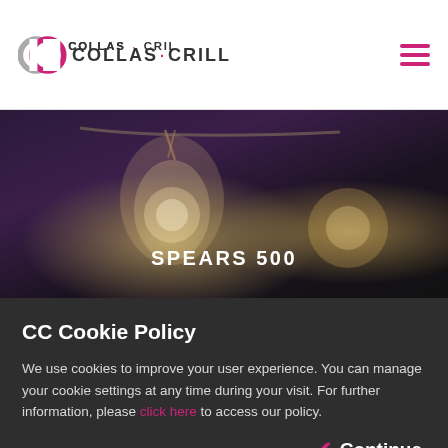Collas Crill
[Figure (photo): Blurred close-up photograph of vintage Edison light bulbs hanging against a dark purple-black bokeh background. The central bulb is in focus showing the filament glowing warmly.]
SPEARS 500
CC Cookie Policy
We use cookies to improve your user experience. You can manage your cookie settings at any time during your visit. For further information, please click here to access our policy.
✓ Continue